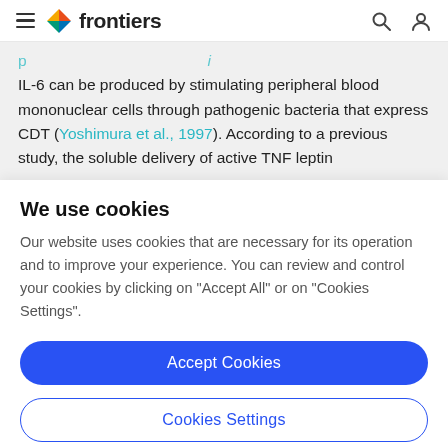frontiers
IL-6 can be produced by stimulating peripheral blood mononuclear cells through pathogenic bacteria that express CDT (Yoshimura et al., 1997). According to a previous study, the soluble delivery of active TNF leptin
We use cookies
Our website uses cookies that are necessary for its operation and to improve your experience. You can review and control your cookies by clicking on "Accept All" or on "Cookies Settings".
Accept Cookies
Cookies Settings